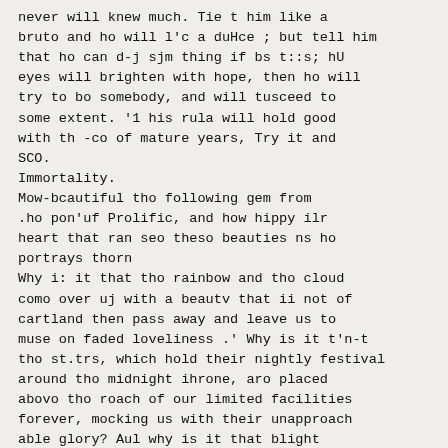never will knew much. Tie t him like a bruto and ho will l'c a duHce ; but tell him that ho can d-j sjm thing if bs t::s; hU eyes will brighten with hope, then ho will try to bo somebody, and will tusceed to some extent. '1 his rula will hold good with th -co of mature years, Try it and SCO.
Immortality.
Mow-bcautiful tho following gem from .ho pon'uf Prolific, and how hippy ilr heart that ran seo theso beauties ns ho portrays thorn
Why i: it that tho rainbow and tho cloud como over uj with a beautv that ii not of cartland then pass away and leave us to muse on faded loveliness .' Why is it t'n-t tho st.trs, which hold their nightly festival around tho midnight ihrone, aro placed abovo tho roach of our limited facilities forever, mocking us with their unapproach able glory? Aul why is it that blight forms of human beauty arc presented to our view, and then taken from us, leaving